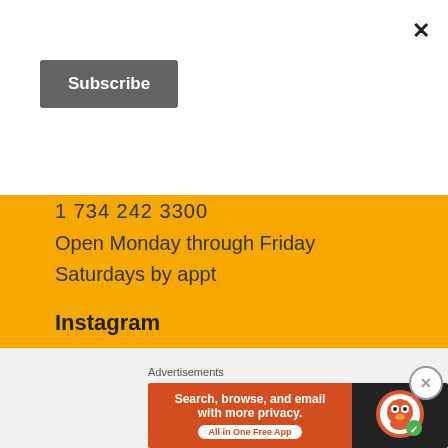×
Subscribe
1 734 242 3300
Open Monday through Friday
Saturdays by appt
Instagram
[Figure (photo): Close-up of a person's forehead and eyes showing wrinkles and brow area]
[Figure (photo): Close-up of a person's neck/chin area with surgical markings]
Advertisements
[Figure (screenshot): DuckDuckGo advertisement banner: 'Search, browse, and email with more privacy. All in One Free App']